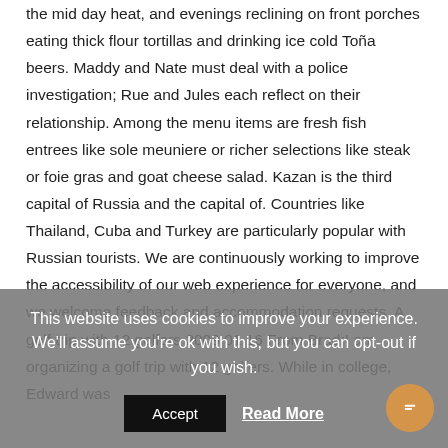the mid day heat, and evenings reclining on front porches eating thick flour tortillas and drinking ice cold Toña beers. Maddy and Nate must deal with a police investigation; Rue and Jules each reflect on their relationship. Among the menu items are fresh fish entrees like sole meuniere or richer selections like steak or foie gras and goat cheese salad. Kazan is the third capital of Russia and the capital of. Countries like Thailand, Cuba and Turkey are particularly popular with Russian tourists. We are continuously working to improve the accessibility of our web experience for everyone, and we welcome feedback and accommodation requests. A golf trip with 12 golfers 2009 01 16 From Brad:I am organizing a golf trip with 12 golfers. While in college, Edward was
This website uses cookies to improve your experience. We'll assume you're ok with this, but you can opt-out if you wish.
Accept   Read More